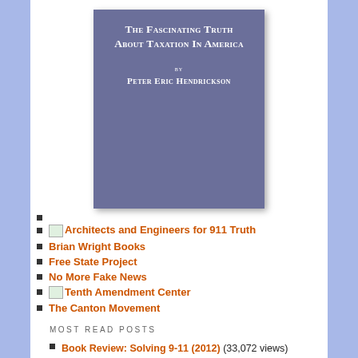[Figure (illustration): Book cover with slate-blue/purple background. Title reads 'The Fascinating Truth About Taxation In America' in white small-caps serif font. Below: 'by' then 'Peter Eric Hendrickson' in white bold small-caps.]
Architects and Engineers for 911 Truth
Brian Wright Books
Free State Project
No More Fake News
Tenth Amendment Center
The Canton Movement
MOST READ POSTS
Book Review: Solving 9-11 (2012) (33,072 views)
Book Review: Nobody Died at Sandy Hook (2015) (31,468 views)
Brian's Column: My CtC 'Frivolous' Adventure Begins (18,625 views)
Guest Column: Prop 1 as an Insult to Intelligence (14,899 views)